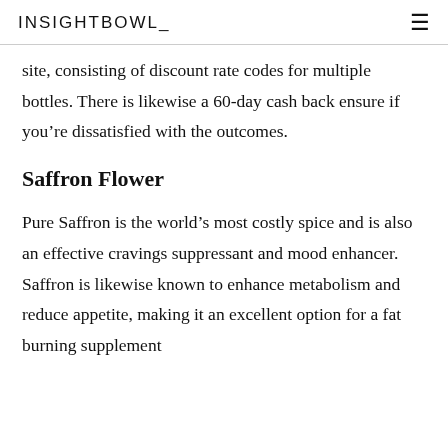INSIGHTBOWL
site, consisting of discount rate codes for multiple bottles. There is likewise a 60-day cash back ensure if you're dissatisfied with the outcomes.
Saffron Flower
Pure Saffron is the world's most costly spice and is also an effective cravings suppressant and mood enhancer. Saffron is likewise known to enhance metabolism and reduce appetite, making it an excellent option for a fat burning supplement